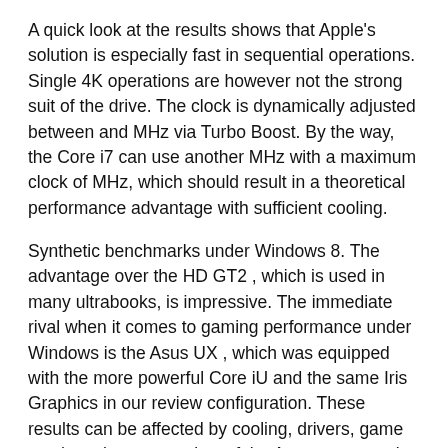A quick look at the results shows that Apple's solution is especially fast in sequential operations. Single 4K operations are however not the strong suit of the drive. The clock is dynamically adjusted between and MHz via Turbo Boost. By the way, the Core i7 can use another MHz with a maximum clock of MHz, which should result in a theoretical performance advantage with sufficient cooling.
Synthetic benchmarks under Windows 8. The advantage over the HD GT2 , which is used in many ultrabooks, is impressive. The immediate rival when it comes to gaming performance under Windows is the Asus UX , which was equipped with the more powerful Core iU and the same Iris Graphics in our review configuration. These results can be affected by cooling, drivers, game patches since our review of the Asus or measuring tolerances.
Generally speaking, the gaming performance in Windows is comparable. Our benchmark site of the Iris Graphics